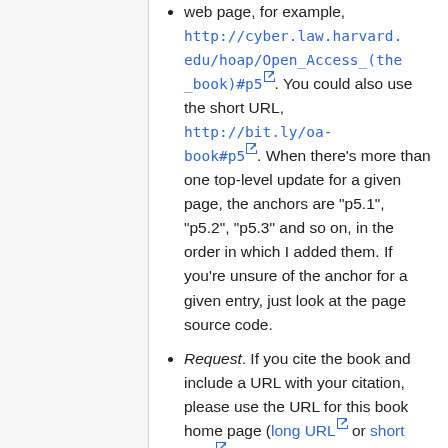web page, for example, http://cyber.law.harvard.edu/hoap/Open_Access_(the_book)#p5. You could also use the short URL, http://bit.ly/oa-book#p5. When there's more than one top-level update for a given page, the anchors are "p5.1", "p5.2", "p5.3" and so on, in the order in which I added them. If you're unsure of the anchor for a given entry, just look at the page source code.
Request. If you cite the book and include a URL with your citation, please use the URL for this book home page (long URL or short URL). Then your readers will know about the print and OA editions, the